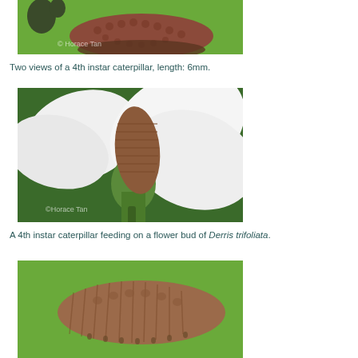[Figure (photo): Close-up photo of a 4th instar caterpillar on green background, showing textured brown/reddish body, copyright Horace Tan]
Two views of a 4th instar caterpillar, length: 6mm.
[Figure (photo): A 4th instar caterpillar feeding on a white flower bud of Derris trifoliata, copyright Horace Tan]
A 4th instar caterpillar feeding on a flower bud of Derris trifoliata.
[Figure (photo): Close-up side view of a 4th instar caterpillar on green leaf background]